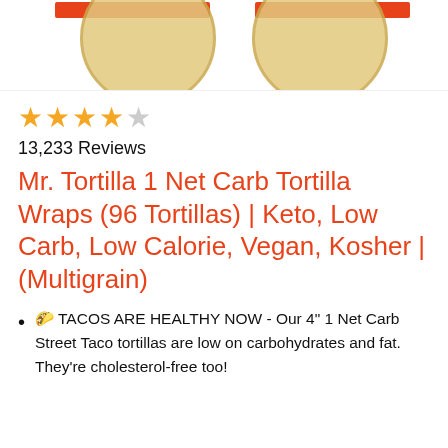[Figure (photo): Product photo showing two circular multigrain tortillas with red promotional banners at the top]
★★★★☆ 13,233 Reviews
Mr. Tortilla 1 Net Carb Tortilla Wraps (96 Tortillas) | Keto, Low Carb, Low Calorie, Vegan, Kosher | (Multigrain)
🌮 TACOS ARE HEALTHY NOW - Our 4" 1 Net Carb Street Taco tortillas are low on carbohydrates and fat. They're cholesterol-free too!